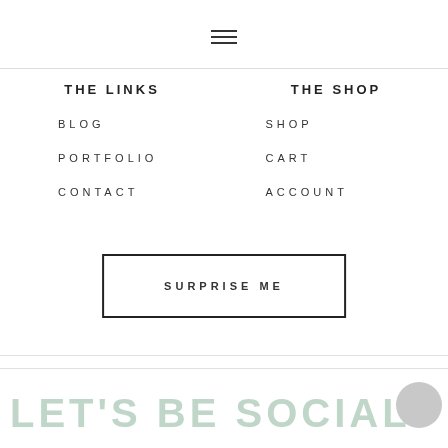[Figure (other): Hamburger menu icon (three horizontal lines)]
THE LINKS
THE SHOP
BLOG
PORTFOLIO
CONTACT
SHOP
CART
ACCOUNT
SURPRISE ME
LET'S BE SOCIAL